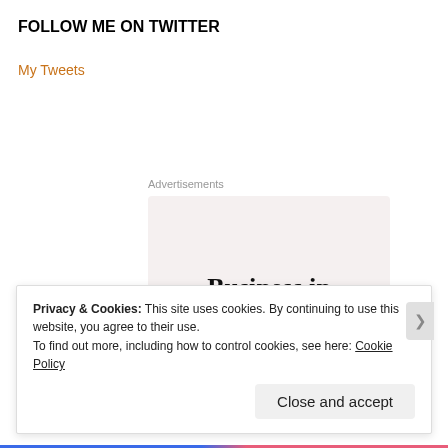FOLLOW ME ON TWITTER
My Tweets
[Figure (other): Advertisement image showing text 'Business in the front...' in serif font on a light pink/beige background, with a gradient rounded rectangle at the bottom showing 'WordPress in the back...']
Advertisements
Privacy & Cookies: This site uses cookies. By continuing to use this website, you agree to their use.
To find out more, including how to control cookies, see here: Cookie Policy
Close and accept